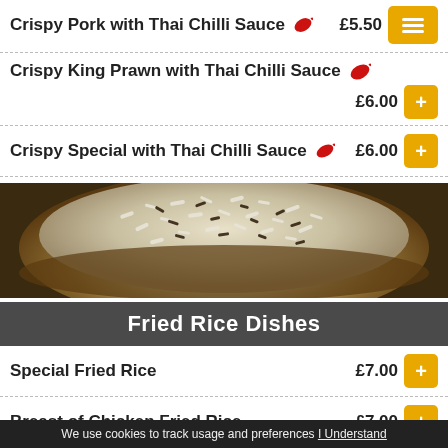Crispy Pork with Thai Chilli Sauce £5.50
Crispy King Prawn with Thai Chilli Sauce £6.00
Crispy Special with Thai Chilli Sauce £6.00
[Figure (photo): Bowl of fried rice with wild rice and garnish, dark brown bowl on rustic background]
Fried Rice Dishes
Special Fried Rice £7.00
Breast of Chicken Fried Rice £7.00
We use cookies to track usage and preferences I Understand